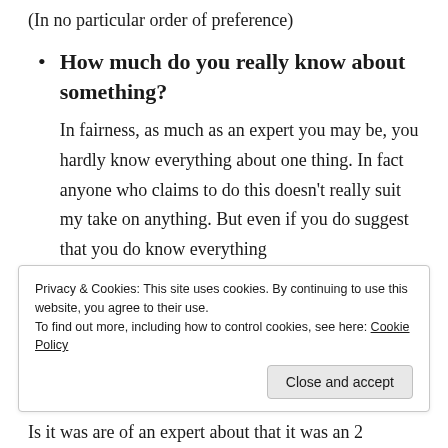(In no particular order of preference)
How much do you really know about something?
In fairness, as much as an expert you may be, you hardly know everything about one thing. In fact anyone who claims to do this doesn’t really suit my take on anything. But even if you do suggest that you do know everything about something...
Privacy & Cookies: This site uses cookies. By continuing to use this website, you agree to their use.
To find out more, including how to control cookies, see here: Cookie Policy
Close and accept
Is it was are of an expert about that it was an 2